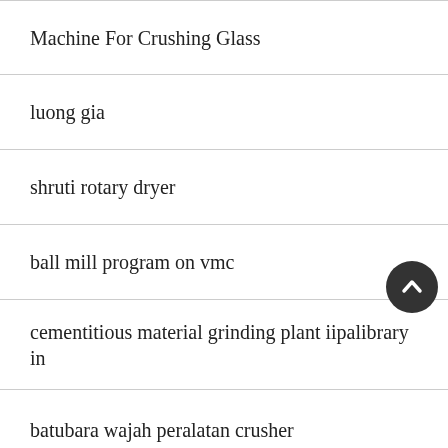Machine For Crushing Glass
luong gia
shruti rotary dryer
ball mill program on vmc
cementitious material grinding plant iipalibrary in
batubara wajah peralatan crusher